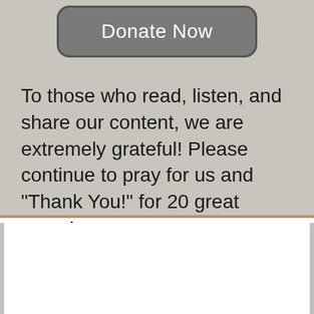[Figure (other): Donate Now button - rounded rectangle button with grey background]
To those who read, listen, and share our content, we are extremely grateful! Please continue to pray for us and "Thank You!" for 20 great years!
Home » King James Bible » Bible Concordance » Whether